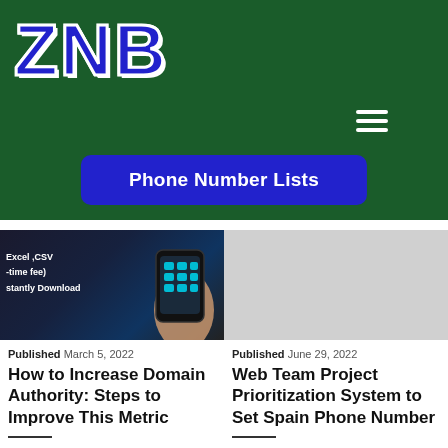[Figure (logo): ZNB logo in bold dark blue letters with white outline on dark green background]
[Figure (other): Hamburger menu icon (three horizontal white lines) on green background]
Phone Number Lists
[Figure (photo): Dark background image showing Excel/CSV text, one-time fee, instantly download text with hand holding phone on right side]
Published March 5, 2022
How to Increase Domain Authority: Steps to Improve This Metric
[Figure (photo): Light gray placeholder image for second article]
Published June 29, 2022
Web Team Project Prioritization System to Set Spain Phone Number